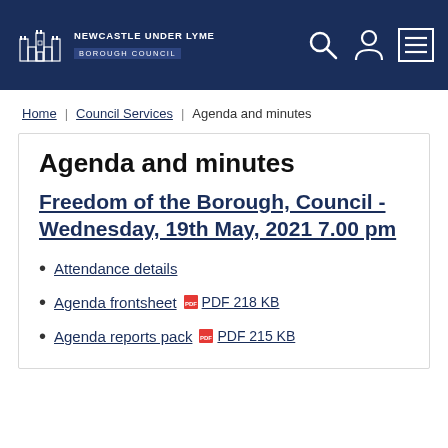NEWCASTLE UNDER LYME BOROUGH COUNCIL
Home | Council Services | Agenda and minutes
Agenda and minutes
Freedom of the Borough, Council - Wednesday, 19th May, 2021 7.00 pm
Attendance details
Agenda frontsheet  PDF 218 KB
Agenda reports pack  PDF 215 KB